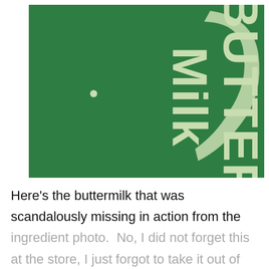[Figure (photo): Close-up photo of a Crystal brand Cultured Lowfat Buttermilk carton. Green carton with cream/light green text. Shows 'Crystal' brand name with swoosh logo on right, 'CULTURED LOWFAT' text, large 'BUTTER-Milk' text, and small text reading 'VITAMIN A ADDED' and '1% MILK FAT' and 'DOES NOT CONTAIN THE [illegible] HORMONE rBST' on the side.]
Here's the buttermilk that was scandalously missing in action from the ingredient photo. No, I did not forget this at the store, I just forgot to take it out of